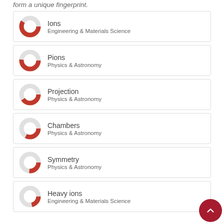form a unique fingerprint.
Ions — Engineering & Materials Science
Pions — Physics & Astronomy
Projection — Physics & Astronomy
Chambers — Physics & Astronomy
Symmetry — Physics & Astronomy
Heavy ions — Engineering & Materials Science